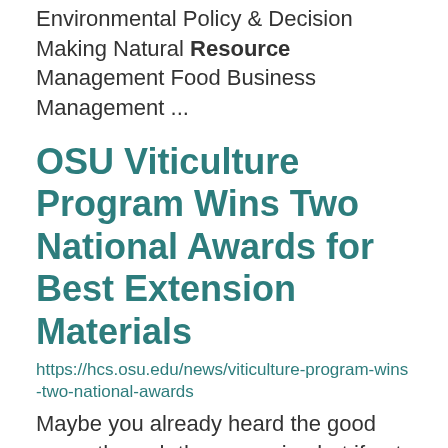Environmental Policy & Decision Making Natural Resource Management Food Business Management ...
OSU Viticulture Program Wins Two National Awards for Best Extension Materials
https://hcs.osu.edu/news/viticulture-program-wins-two-national-awards
Maybe you already heard the good news through the grapevine but if not our Viticulture Program ... resources available to you 24/7!    ...
New Introductory Career